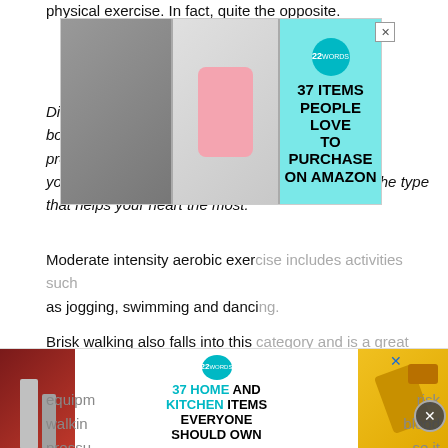physical exercise. In fact, quite the opposite.
Different types of exercise benefit your body. Physical activity can lower your blood pressure and help your heart and blood vessels. Aerobic exercise is the type that helps your heart the most.
[Figure (screenshot): Advertisement banner: 37 Items People Love To Purchase On Amazon, with product images and teal badge showing '22']
Moderate intensity aerobic exercise includes activities such as jogging, swimming and dancing.
Brisk walking also falls into this category and is a great activity for people with high blood pressure because it doesnt require a gym membership or any special equipment. Regular walking can reduce your risk walkin... blood pressu... se it also h...
[Figure (screenshot): Black video overlay player covering right portion of page]
[Figure (screenshot): Advertisement banner: 37 Home and Kitchen Items Everyone Should Own, with product images and teal badge showing '22']